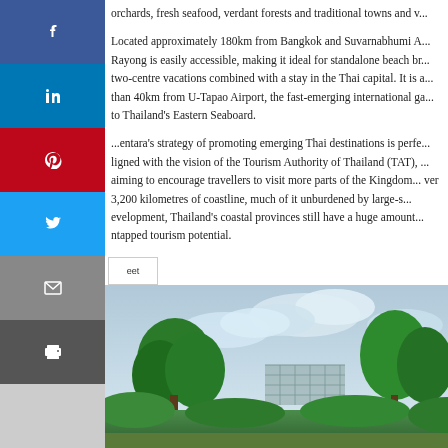orchards, fresh seafood, verdant forests and traditional towns and v...
Located approximately 180km from Bangkok and Suvarnabhumi Airport, Rayong is easily accessible, making it ideal for standalone beach breaks or two-centre vacations combined with a stay in the Thai capital. It is also less than 40km from U-Tapao Airport, the fast-emerging international gateway to Thailand's Eastern Seaboard.
...entara's strategy of promoting emerging Thai destinations is perfectly aligned with the vision of the Tourism Authority of Thailand (TAT), which is aiming to encourage travellers to visit more parts of the Kingdom. With over 3,200 kilometres of coastline, much of it unburdened by large-scale development, Thailand's coastal provinces still have a huge amount of untapped tourism potential.
[Figure (photo): Outdoor photo showing green trees, tropical vegetation and a building structure under a partly cloudy sky.]